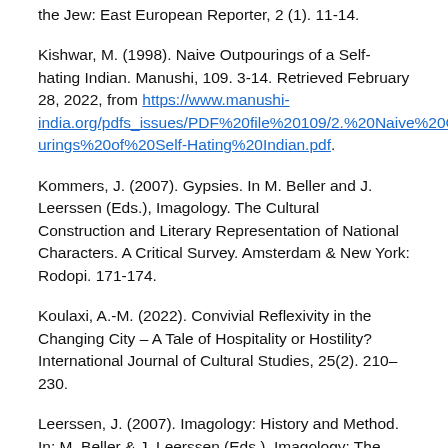the Jew: East European Reporter, 2 (1). 11-14.
Kishwar, M. (1998). Naive Outpourings of a Self-hating Indian. Manushi, 109. 3-14. Retrieved February 28, 2022, from https://www.manushi-india.org/pdfs_issues/PDF%20file%20109/2.%20Naive%20Outpourings%20of%20Self-Hating%20Indian.pdf.
Kommers, J. (2007). Gypsies. In M. Beller and J. Leerssen (Eds.), Imagology. The Cultural Construction and Literary Representation of National Characters. A Critical Survey. Amsterdam & New York: Rodopi. 171-174.
Koulaxi, A.-M. (2022). Convivial Reflexivity in the Changing City – A Tale of Hospitality or Hostility? International Journal of Cultural Studies, 25(2). 210–230.
Leerssen, J. (2007). Imagology: History and Method. In: M. Beller & J. Leerssen (Eds.), Imagology: The Cultural